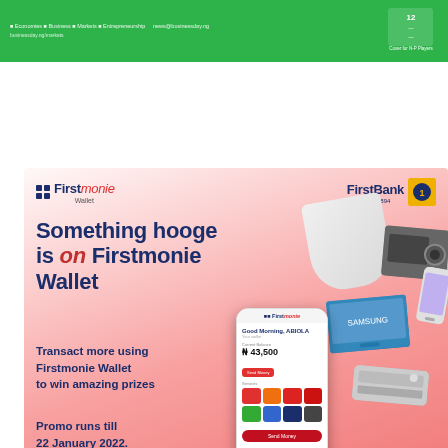[Figure (infographic): Green header bar with social media/website links on the left and text on the right]
[Figure (infographic): Firstmonie Wallet promotional advertisement by FirstBank. Features 'Something hooge is on Firstmonie Wallet' headline, details about transacting to win prizes, promo end date 22 January 2022, app store download buttons, phone mockup, and floating prize images (bag, generator, phone, TV, AC unit, box).]